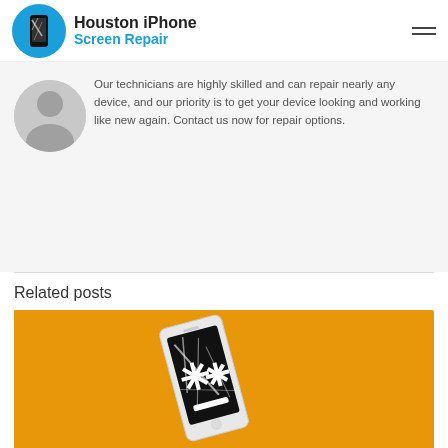Houston iPhone Screen Repair
Our technicians are highly skilled and can repair nearly any device, and our priority is to get your device looking and working like new again. Contact us now for repair options.
Related posts
[Figure (photo): An iPhone with a cracked screen displaying asterisk-like star symbols on an orange/yellow background]